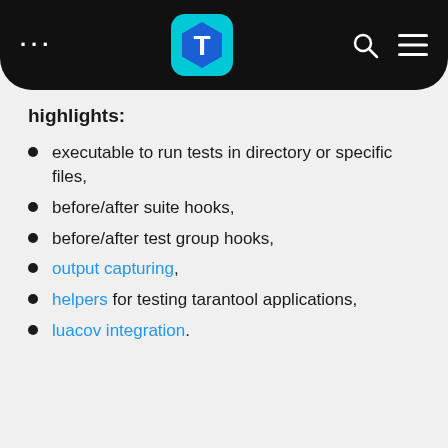... [T logo] [search] [menu]
highlights:
executable to run tests in directory or specific files,
before/after suite hooks,
before/after test group hooks,
output capturing,
helpers for testing tarantool applications,
luacov integration.